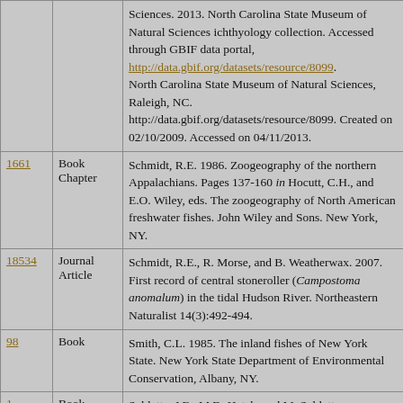| ID | Type | Reference |
| --- | --- | --- |
|  |  | Sciences. 2013. North Carolina State Museum of Natural Sciences ichthyology collection. Accessed through GBIF data portal, http://data.gbif.org/datasets/resource/8099. North Carolina State Museum of Natural Sciences, Raleigh, NC. http://data.gbif.org/datasets/resource/8099. Created on 02/10/2009. Accessed on 04/11/2013. |
| 1661 | Book Chapter | Schmidt, R.E. 1986. Zoogeography of the northern Appalachians. Pages 137-160 in Hocutt, C.H., and E.O. Wiley, eds. The zoogeography of North American freshwater fishes. John Wiley and Sons. New York, NY. |
| 18534 | Journal Article | Schmidt, R.E., R. Morse, and B. Weatherwax. 2007. First record of central stoneroller (Campostoma anomalum) in the tidal Hudson River. Northeastern Naturalist 14(3):492-494. |
| 98 | Book | Smith, C.L. 1985. The inland fishes of New York State. New York State Department of Environmental Conservation, Albany, NY. |
| 1 | Book | Sublette, J.E., M.D. Hatch, and M. Sublette. 1990. The fishes of New Mexico. University... |